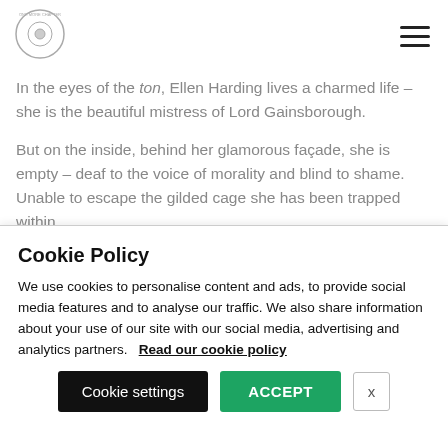[Figure (logo): Circular logo with text around the edge, light grey/white color]
In the eyes of the ton, Ellen Harding lives a charmed life – she is the beautiful mistress of Lord Gainsborough.
But on the inside, behind her glamorous façade, she is empty – deaf to the voice of morality and blind to shame. Unable to escape the gilded cage she has been trapped within.
Kind, gentle Edward Marlow could prove to be her salvation…
Cookie Policy
We use cookies to personalise content and ads, to provide social media features and to analyse our traffic. We also share information about your use of our site with our social media, advertising and analytics partners.    Read our cookie policy
Cookie settings   ACCEPT   x